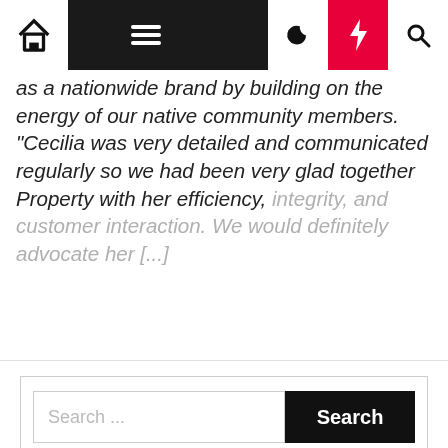Navigation bar with home, menu, moon, bolt, search icons
as a nationwide brand by building on the energy of our native community members. "Cecilia was very detailed and communicated regularly so we had been very glad together Property with her efficiency, integrity, and customer interaction. We would definitely advocate her [...]
Search ...
| M | T | W | T | F | S | S |
| --- | --- | --- | --- | --- | --- | --- |